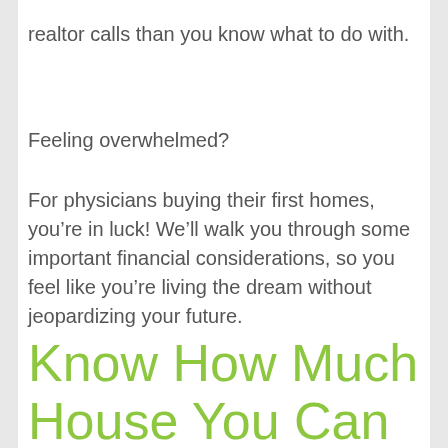realtor calls than you know what to do with.
Feeling overwhelmed?
For physicians buying their first homes, you're in luck! We'll walk you through some important financial considerations, so you feel like you're living the dream without jeopardizing your future.
Know How Much House You Can